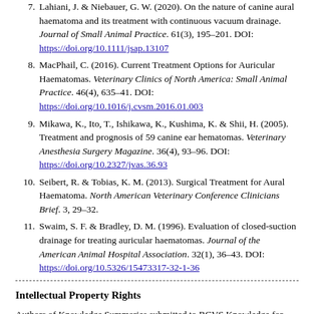7. Lahiani, J. & Niebauer, G. W. (2020). On the nature of canine aural haematoma and its treatment with continuous vacuum drainage. Journal of Small Animal Practice. 61(3), 195–201. DOI: https://doi.org/10.1111/jsap.13107
8. MacPhail, C. (2016). Current Treatment Options for Auricular Haematomas. Veterinary Clinics of North America: Small Animal Practice. 46(4), 635–41. DOI: https://doi.org/10.1016/j.cvsm.2016.01.003
9. Mikawa, K., Ito, T., Ishikawa, K., Kushima, K. & Shii, H. (2005). Treatment and prognosis of 59 canine ear hematomas. Veterinary Anesthesia Surgery Magazine. 36(4), 93–96. DOI: https://doi.org/10.2327/jvas.36.93
10. Seibert, R. & Tobias, K. M. (2013). Surgical Treatment for Aural Haematoma. North American Veterinary Conference Clinicians Brief. 3, 29–32.
11. Swaim, S. F. & Bradley, D. M. (1996). Evaluation of closed-suction drainage for treating auricular haematomas. Journal of the American Animal Hospital Association. 32(1), 36–43. DOI: https://doi.org/10.5326/15473317-32-1-36
Intellectual Property Rights
Authors of Knowledge Summaries submitted to RCVS Knowledge for publication will retain copyright in their work, and will be required to grant to RCVS Knowledge a non-exclusive licence to...